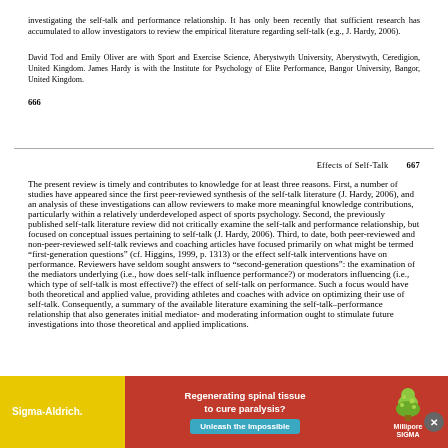investigating the self-talk and performance relationship. It has only been recently that sufficient research has accumulated to allow investigators to review the empirical literature regarding self-talk (e.g., J. Hardy, 2006).
David Tod and Emily Oliver are with Sport and Exercise Science, Aberystwyth University, Aberystwyth, Ceredigion, United Kingdom. James Hardy is with the Institute for Psychology of Elite Performance, Bangor University, Bangor, United Kingdom.
666
Effects of Self-Talk    667
The present review is timely and contributes to knowledge for at least three reasons. First, a number of studies have appeared since the first peer-reviewed synthesis of the self-talk literature (J. Hardy, 2006), and an analysis of these investigations can allow reviewers to make more meaningful knowledge contributions, particularly within a relatively underdeveloped aspect of sports psychology. Second, the previously published self-talk literature review did not critically examine the self-talk and performance relationship, but focused on conceptual issues pertaining to self-talk (J. Hardy, 2006). Third, to date, both peer-reviewed and non-peer-reviewed self-talk reviews and coaching articles have focused primarily on what might be termed "first-generation questions" (cf. Higgins, 1999, p. 1313) or the effect self-talk interventions have on performance. Reviewers have seldom sought answers to "second-generation questions": the examination of the mediators underlying (i.e., how does self-talk influence performance?) or moderators influencing (i.e., which type of self-talk is most effective?) the effect of self-talk on performance. Such a focus would have both theoretical and applied value, providing athletes and coaches with advice on optimizing their use of self-talk. Consequently, a summary of the available literature examining the self-talk–performance relationship that also generates initial mediator- and moderating information ought to stimulate future investigations into those theoretical and applied implications.
[Figure (infographic): Sigma-Aldrich advertisement banner: Regenerating spinal tissue to cure paralysis? Unleash the Impossible. MilliporeSigma logo with tree graphic.]